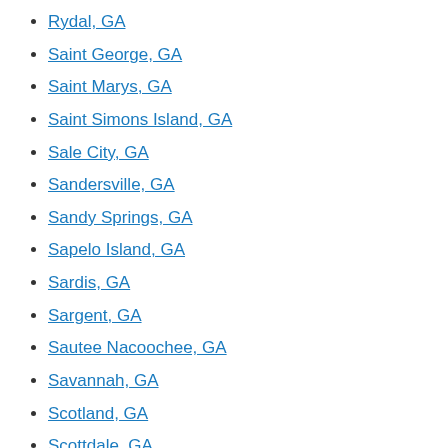Rydal, GA
Saint George, GA
Saint Marys, GA
Saint Simons Island, GA
Sale City, GA
Sandersville, GA
Sandy Springs, GA
Sapelo Island, GA
Sardis, GA
Sargent, GA
Sautee Nacoochee, GA
Savannah, GA
Scotland, GA
Scottdale, GA
Screven, GA
Sea Island, GA
Senoia, GA
Seville, GA